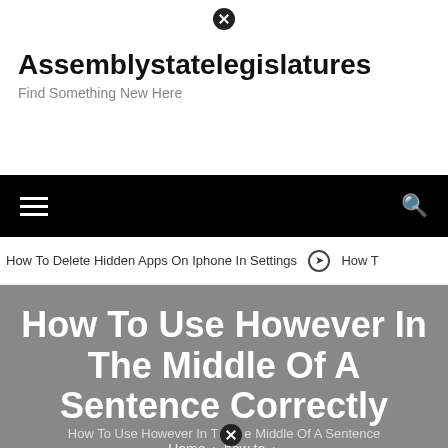Assemblystatelegislatures
Find Something New Here
[Figure (screenshot): Navigation bar with hamburger menu icon on left and search icon on right, black background]
How To Delete Hidden Apps On Iphone In Settings  ❯  How T
How To Use However In The Middle Of A Sentence Correctly
Home > how to >
How To Use However In The Middle Of A Sentence